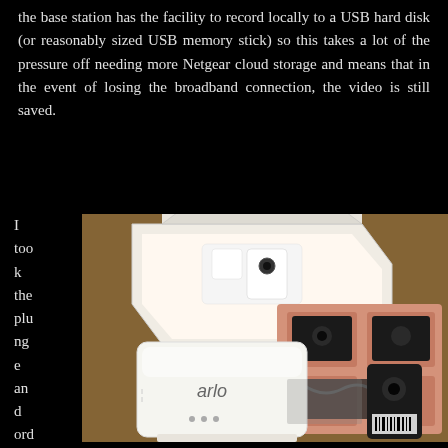the base station has the facility to record locally to a USB hard disk (or reasonably sized USB memory stick) so this takes a lot of the pressure off needing more Netgear cloud storage and means that in the event of losing the broadband connection, the video is still saved.
I took the plunge and ordered a 3 ca
[Figure (photo): Unboxing photo of Arlo security camera system showing open white boxes with cameras and accessories on a brown surface. White Arlo base station visible in foreground, along with a pink foam tray containing black camera accessories.]